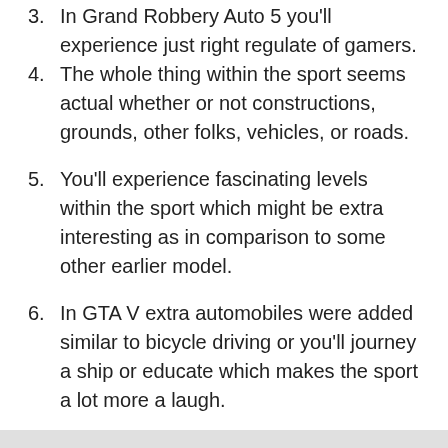3. In Grand Robbery Auto 5 you'll experience just right regulate of gamers.
4. The whole thing within the sport seems actual whether or not constructions, grounds, other folks, vehicles, or roads.
5. You'll experience fascinating levels within the sport which might be extra interesting as in comparison to some other earlier model.
6. In GTA V extra automobiles were added similar to bicycle driving or you'll journey a ship or educate which makes the sport a lot more a laugh.
How To Download Gta V Apk To Your Mobile?
The method to download GTA V APK may be very easy